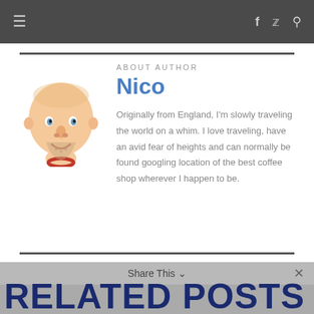≡  (facebook) (twitter) (search)
About Author
Nico
[Figure (illustration): Cartoon avatar of a bald man with a beard, wearing a red necklace]
Originally from England, I'm slowly traveling the world on a whim. I love traveling, have an avid fear of heights and can normally be found googling location of the best coffee shop wherever I happen to be.
RELATED POSTS
Share This